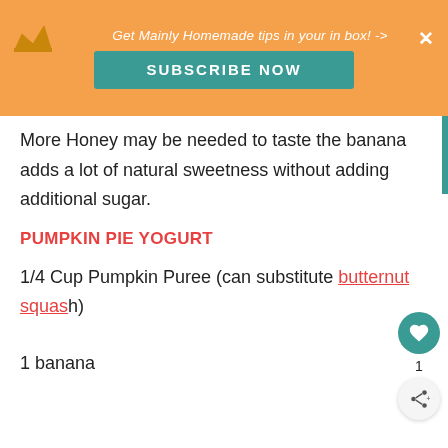Get Mainly Homemade tips in your in box! -> SUBSCRIBE NOW
More Honey may be needed to taste the banana adds a lot of natural sweetness without adding additional sugar.
PUMPKIN PIE YOGURT
1/4 Cup Pumpkin Puree (can substitute butternut squash)
1 banana